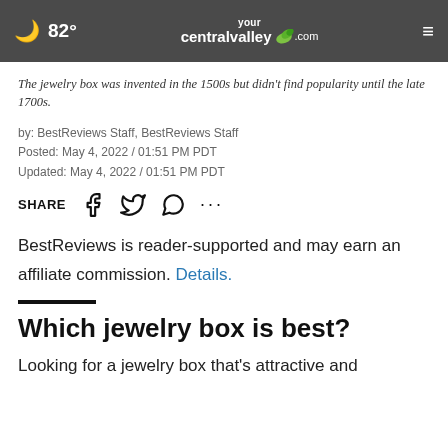82° yourcentralvalley.com
The jewelry box was invented in the 1500s but didn't find popularity until the late 1700s.
by: BestReviews Staff, BestReviews Staff
Posted: May 4, 2022 / 01:51 PM PDT
Updated: May 4, 2022 / 01:51 PM PDT
SHARE [Facebook] [Twitter] [WhatsApp] [...]
BestReviews is reader-supported and may earn an affiliate commission. Details.
Which jewelry box is best?
Looking for a jewelry box that's attractive and